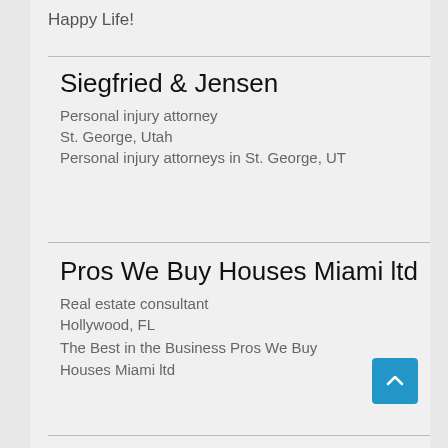Happy Life!
Siegfried & Jensen
Personal injury attorney
St. George, Utah
Personal injury attorneys in St. George, UT
Pros We Buy Houses Miami ltd
Real estate consultant
Hollywood, FL
The Best in the Business Pros We Buy Houses Miami ltd